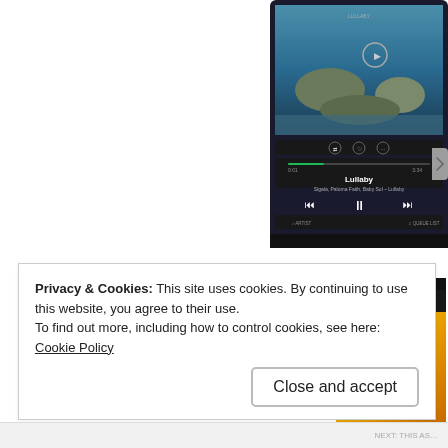[Figure (screenshot): Spotify app screenshot showing Lullaby by Sigala, Paloma Faith, Baby Sol playing with album artwork of a coastal landscape scene, playback controls, and progress bar.]
[Figure (screenshot): Spotify app screenshot showing playlist 'This Is Summer' with Answerphone album art featuring yellow and red zipper design, status bar showing CO-UK, 16:33, 50% battery.]
Privacy & Cookies: This site uses cookies. By continuing to use this website, you agree to their use.
To find out more, including how to control cookies, see here: Cookie Policy
Close and accept